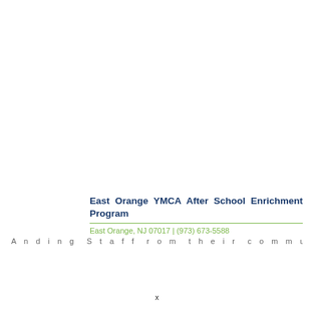East Orange YMCA After School Enrichment Program
East Orange, NJ 07017 | (973) 673-5588
A n d i n g S t a f f r o m t h e i r c o m m u n i t y t h e E a s t O r a n g e
x